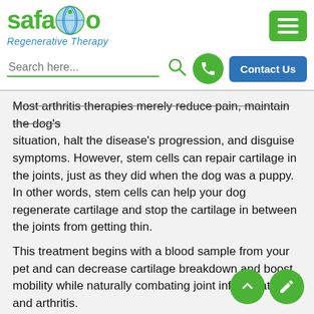[Figure (logo): Safari Regenerative Therapy logo with globe icon and green hamburger menu button]
[Figure (screenshot): Search bar with green search icon, green phone button, and blue Contact Us button]
Most arthritis therapies merely reduce pain, maintain the dog's situation, halt the disease's progression, and disguise symptoms. However, stem cells can repair cartilage in the joints, just as they did when the dog was a puppy. In other words, stem cells can help your dog regenerate cartilage and stop the cartilage in between the joints from getting thin.
This treatment begins with a blood sample from your pet and can decrease cartilage breakdown and boost mobility while naturally combating joint inflammation and arthritis.
When stem cells are injected into damaged sections of cartilage, bone, muscle, and many other tissue types, they act as reinforcement, or you could say it is the Calvary that helps